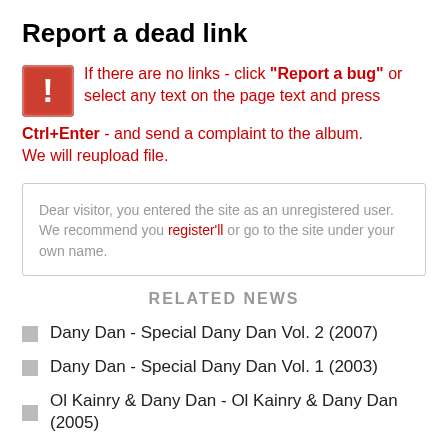Report a dead link
If there are no links - click "Report a bug" or select any text on the page text and press Ctrl+Enter - and send a complaint to the album. We will reupload file.
Dear visitor, you entered the site as an unregistered user. We recommend you register'll or go to the site under your own name.
RELATED NEWS
Dany Dan - Special Dany Dan Vol. 2 (2007)
Dany Dan - Special Dany Dan Vol. 1 (2003)
Ol Kainry & Dany Dan - Ol Kainry & Dany Dan (2005)